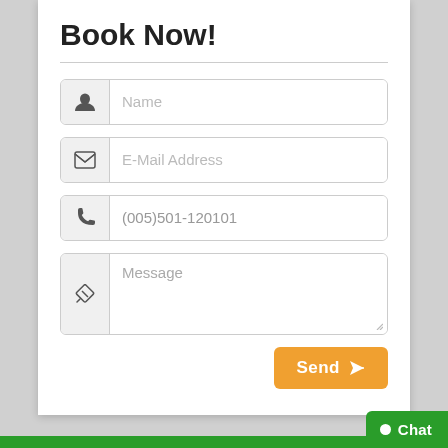Book Now!
Name
E-Mail Address
(005)501-120101
Message
Send
Chat